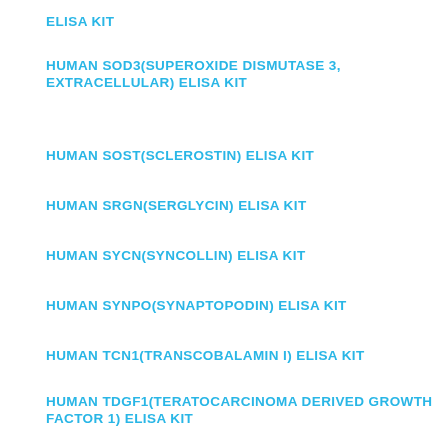ELISA KIT
HUMAN SOD3(SUPEROXIDE DISMUTASE 3, EXTRACELLULAR) ELISA KIT
HUMAN SOST(SCLEROSTIN) ELISA KIT
HUMAN SRGN(SERGLYCIN) ELISA KIT
HUMAN SYCN(SYNCOLLIN) ELISA KIT
HUMAN SYNPO(SYNAPTOPODIN) ELISA KIT
HUMAN TCN1(TRANSCOBALAMIN I) ELISA KIT
HUMAN TDGF1(TERATOCARCINOMA DERIVED GROWTH FACTOR 1) ELISA KIT